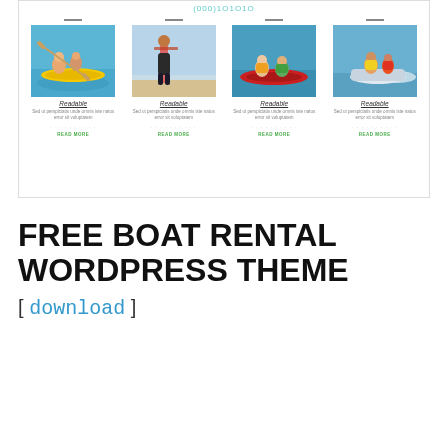[Figure (screenshot): Screenshot of a boat rental WordPress theme website showing a phone number at top and four cards with water sport activity photos, each labeled 'Readable' with placeholder text and a READ MORE link]
FREE BOAT RENTAL WORDPRESS THEME [ download ]